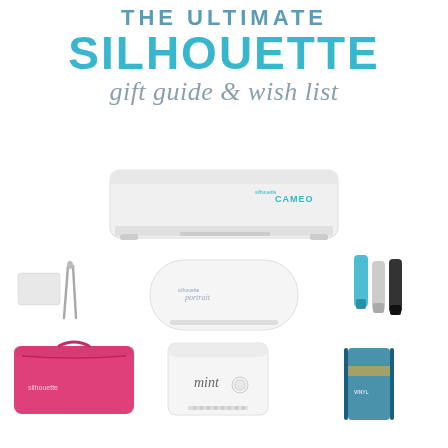THE ULTIMATE SILHOUETTE gift guide & wish list
[Figure (illustration): Collection of Silhouette crafting products on white background: Silhouette CAMEO cutting machine (top center, white), Silhouette Portrait cutting machine (center, white rounded), tweezers and scraper tools (left center), pens/markers in blue and black (right center), pink Silhouette carrying case (bottom left), Silhouette Mint stamp maker (bottom center, white), and a roll of vinyl/transfer tape (bottom right)]